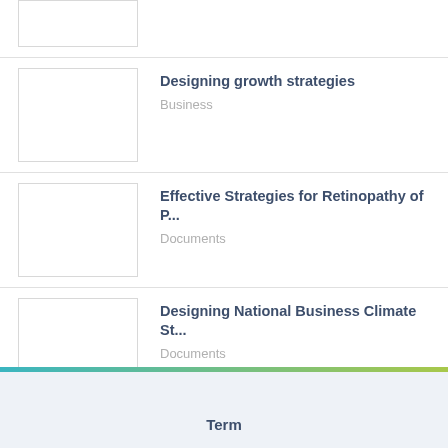[Figure (other): Thumbnail image placeholder (top, partial)]
Designing growth strategies
Business
Effective Strategies for Retinopathy of P...
Documents
Designing National Business Climate St...
Documents
View More >
Term